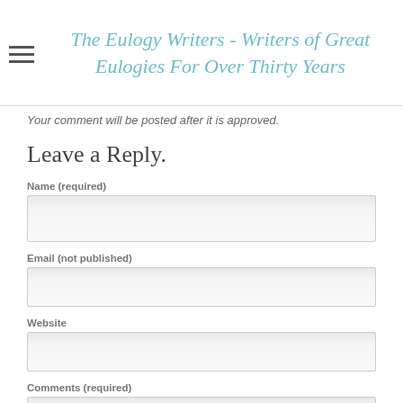The Eulogy Writers - Writers of Great Eulogies For Over Thirty Years
Your comment will be posted after it is approved.
Leave a Reply.
Name (required)
Email (not published)
Website
Comments (required)